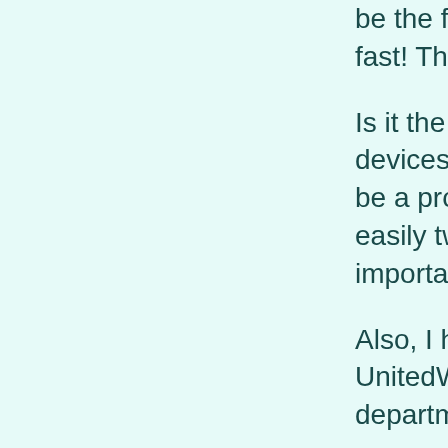be the fix. As soon a fast! This does not a
Is it the internal har devices to eliminate be a problem with t easily twice what m important one.
Also, I have this pro UnitedWifi. Four we department sugges
Following their advi software is the caus Malwatebytes? Is it be there as I know f have a new Spaceg with our office route